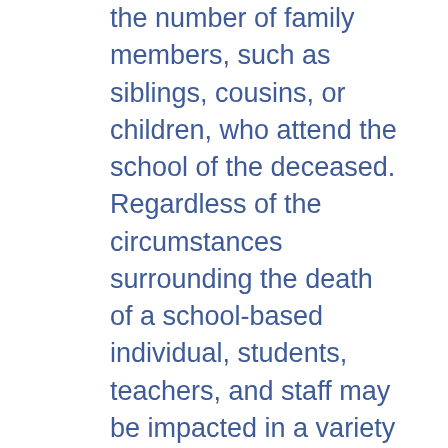the number of family members, such as siblings, cousins, or children, who attend the school of the deceased. Regardless of the circumstances surrounding the death of a school-based individual, students, teachers, and staff may be impacted in a variety of ways. Academic performance may decline if a student has difficulty concentrating to learn new material. Social and emotional challenges for students or adults may result from feelings of sadness, depression, or anxiety or from withdrawing from fellow classmates, students, teachers, or staff. Young students in particular may be fearful to leave family members, resulting in school avoidance and increased absenteeism. Students may